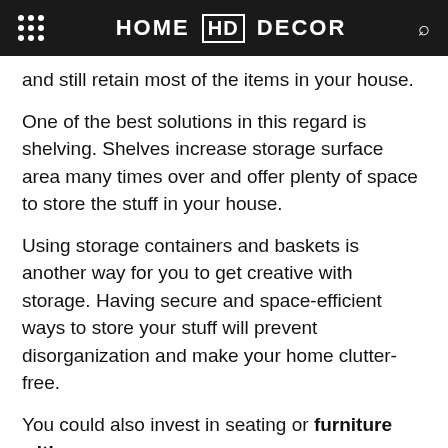HOME HD DECOR
and still retain most of the items in your house.
One of the best solutions in this regard is shelving. Shelves increase storage surface area many times over and offer plenty of space to store the stuff in your house.
Using storage containers and baskets is another way for you to get creative with storage. Having secure and space-efficient ways to store your stuff will prevent disorganization and make your home clutter-free.
You could also invest in seating or furniture with